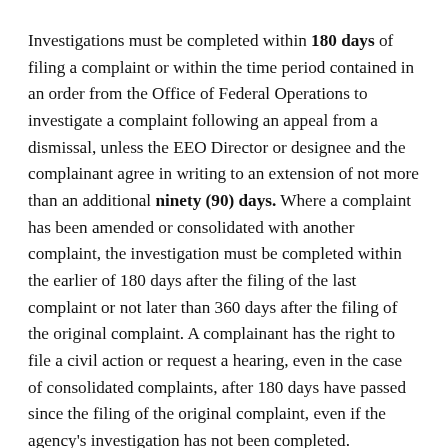Investigations must be completed within 180 days of filing a complaint or within the time period contained in an order from the Office of Federal Operations to investigate a complaint following an appeal from a dismissal, unless the EEO Director or designee and the complainant agree in writing to an extension of not more than an additional ninety (90) days. Where a complaint has been amended or consolidated with another complaint, the investigation must be completed within the earlier of 180 days after the filing of the last complaint or not later than 360 days after the filing of the original complaint. A complainant has the right to file a civil action or request a hearing, even in the case of consolidated complaints, after 180 days have passed since the filing of the original complaint, even if the agency's investigation has not been completed.